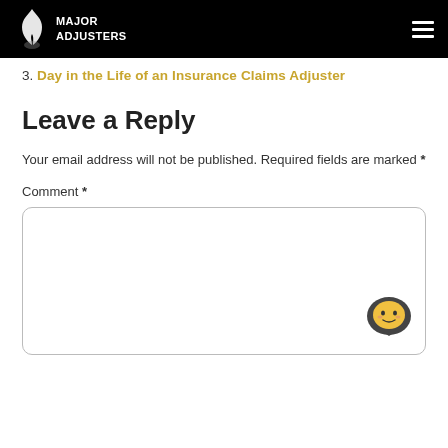Major Adjusters
3. Day in the Life of an Insurance Claims Adjuster
Leave a Reply
Your email address will not be published. Required fields are marked *
Comment *